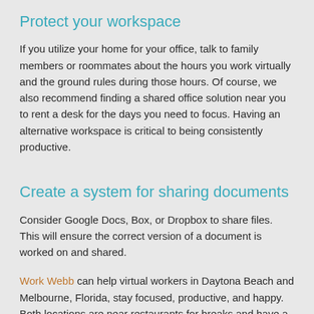Protect your workspace
If you utilize your home for your office, talk to family members or roommates about the hours you work virtually and the ground rules during those hours. Of course, we also recommend finding a shared office solution near you to rent a desk for the days you need to focus. Having an alternative workspace is critical to being consistently productive.
Create a system for sharing documents
Consider Google Docs, Box, or Dropbox to share files. This will ensure the correct version of a document is worked on and shared.
Work Webb can help virtual workers in Daytona Beach and Melbourne, Florida, stay focused, productive, and happy. Both locations are near restaurants for breaks and have a wide selection of options to fit most needs. Visit our website to read what our happy clients say and call us to schedule a tour.